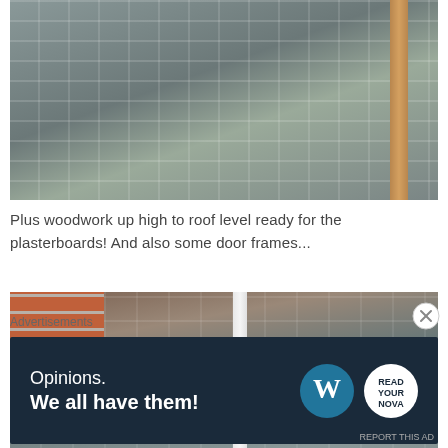[Figure (photo): Construction photo showing grey concrete block wall with wooden plank framing at upper level, roof level woodwork visible]
Plus woodwork up high to roof level ready for the plasterboards! And also some door frames...
[Figure (photo): Construction interior photo showing grey concrete block walls with door frame opening, brick section visible on left, wooden ceiling joists visible through doorway]
Advertisements
[Figure (other): WordPress advertisement banner with dark navy background. Text reads: Opinions. We all have them! With WordPress logo and another logo on the right.]